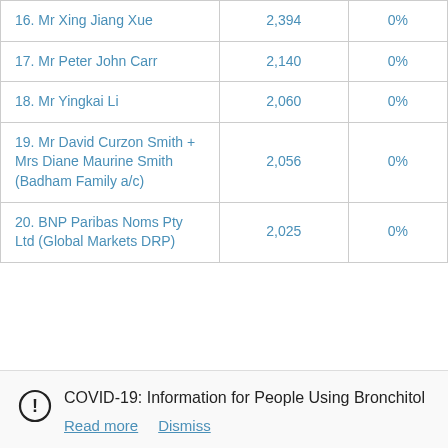| 16. Mr Xing Jiang Xue | 2,394 | 0% |
| 17. Mr Peter John Carr | 2,140 | 0% |
| 18. Mr Yingkai Li | 2,060 | 0% |
| 19. Mr David Curzon Smith + Mrs Diane Maurine Smith (Badham Family a/c) | 2,056 | 0% |
| 20. BNP Paribas Noms Pty Ltd (Global Markets DRP) | 2,025 | 0% |
COVID-19: Information for People Using Bronchitol
Read more   Dismiss